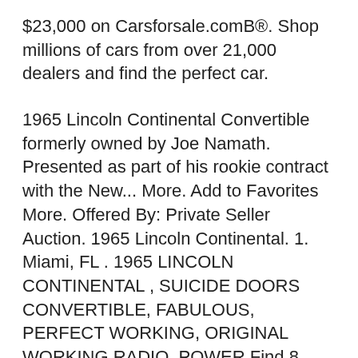$23,000 on Carsforsale.comB®. Shop millions of cars from over 21,000 dealers and find the perfect car.
1965 Lincoln Continental Convertible formerly owned by Joe Namath. Presented as part of his rookie contract with the New... More. Add to Favorites More. Offered By: Private Seller Auction. 1965 Lincoln Continental. 1. Miami, FL . 1965 LINCOLN CONTINENTAL , SUICIDE DOORS CONVERTIBLE, FABULOUS, PERFECT WORKING, ORIGINAL WORKING RADIO, POWER Find 8 used 1965 Lincoln Continental as low as $23,000 on Carsforsale.comB®. Shop millions of cars from over 21,000 dealers and find the perfect car.